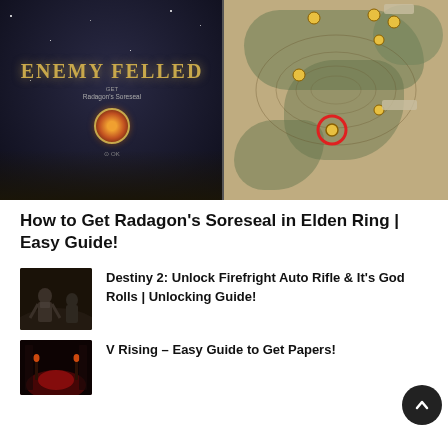[Figure (screenshot): Split screenshot: left side shows Elden Ring 'ENEMY FELLED' screen with Radagon's Soreseal item, right side shows Elden Ring map with a red circle marker indicating item location]
How to Get Radagon's Soreseal in Elden Ring | Easy Guide!
[Figure (photo): Thumbnail image of Destiny 2 characters]
Destiny 2: Unlock Firefright Auto Rifle & It's God Rolls | Unlocking Guide!
[Figure (photo): Thumbnail image for V Rising article]
V Rising – Easy Guide to Get Papers!